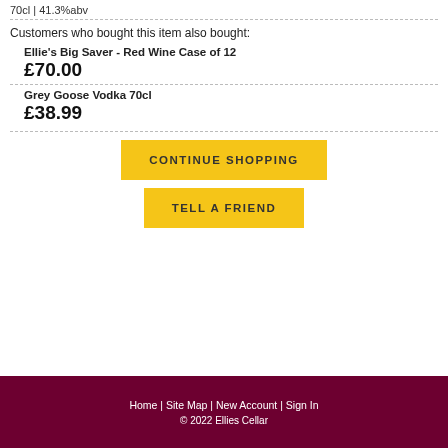70cl | 41.3%abv
Customers who bought this item also bought:
Ellie's Big Saver - Red Wine Case of 12
£70.00
Grey Goose Vodka 70cl
£38.99
CONTINUE SHOPPING
TELL A FRIEND
Home | Site Map | New Account | Sign In
© 2022 Ellies Cellar